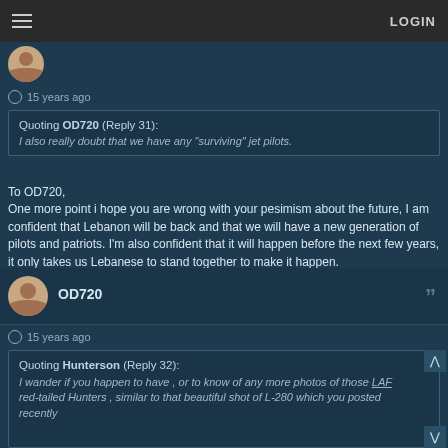LOGIN
15 years ago
Quoting OD720 (Reply 31): I also really doubt that we have any "surviving" jet pilots.
To OD720,
One more point i hope you are wrong with your pesimism about the future, I am confident that Lebanon will be back and that we will have a new generation of pilots and patriots. I'm also confident that it will happen before the next few years, it only takes us Lebanese to stand together to make it happen.
OD720
15 years ago
Quoting Hunterson (Reply 32): I wander if you happen to have , or to know of any more photos of those LAF red-tailed Hunters , similar to that beautiful shot of L-280 which you posted recently